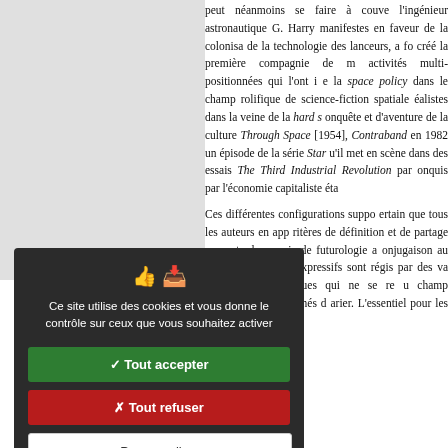peut néanmoins se faire à couve l'ingénieur astronautique G. Harry manifestes en faveur de la colonisa de la technologie des lanceurs, a fo créé la première compagnie de m activités multi-positionnées qui l'ont i e la space policy dans le champ rolifique de science-fiction spatiale éalistes dans la veine de la hard s onquête et d'aventure de la culture Through Space [1954], Contraband en 1982 un épisode de la série Star u'il met en scène dans des essais The Third Industrial Revolution par onquis par l'économie capitaliste éta Ces différentes configurations suppo ertain que tous les auteurs en app ritères de définition et de partage noments, les essais de futurologie a onjugaison au conditionnel des pr xpressifs sont régis par des va omposition spécifiques qui ne se re u champ éditorial et des marchés d arier. L'essentiel pour les auteurs.
Ce site utilise des cookies et vous donne le contrôle sur ceux que vous souhaitez activer
✓ Tout accepter
✗ Tout refuser
Personnaliser
Politique de confidentialité